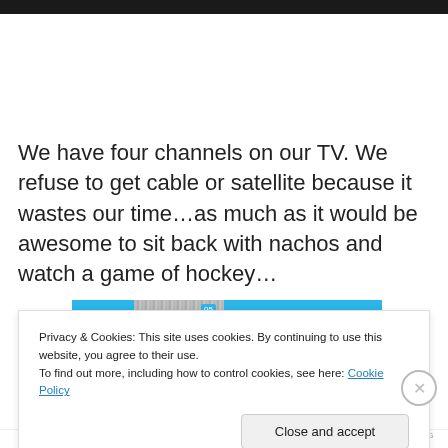We have four channels on our TV. We refuse to get cable or satellite because it wastes our time…as much as it would be awesome to sit back with nachos and watch a game of hockey…
[Figure (screenshot): A media player or video thumbnail strip with blue background and a small video thumbnail in the center showing the number 05.]
Privacy & Cookies: This site uses cookies. By continuing to use this website, you agree to their use.
To find out more, including how to control cookies, see here: Cookie Policy
Close and accept